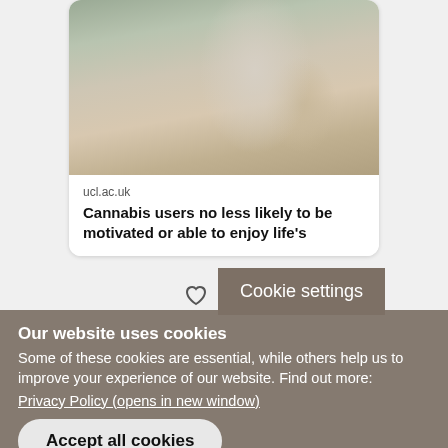[Figure (photo): Social media card showing a person lighting something, with a photo of hands holding a lighter near their face. Card shows source 'ucl.ac.uk' and title 'Cannabis users no less likely to be motivated or able to enjoy life's']
Cookie settings
Our website uses cookies
Some of these cookies are essential, while others help us to improve your experience of our website. Find out more:
Privacy Policy (opens in new window)
Accept all cookies
Manage cookies